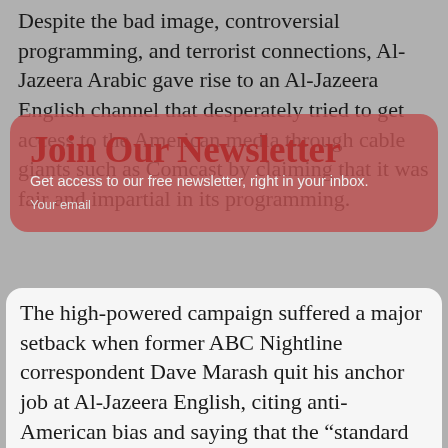Despite the bad image, controversial programming, and terrorist connections, Al-Jazeera Arabic gave rise to an Al-Jazeera English channel that desperately tried to get access to the American media through cable giants such as Comcast by claiming that it was fair and impartial in its programming.
[Figure (other): Newsletter signup overlay with red/pink background, bold title 'Join Our Newsletter', subtitle 'Get access to our free newsletter, right in your inbox.', email input field, green Sign-up Now button, and 'Sorry, I don't have an email address' link.]
The high-powered campaign suffered a major setback when former ABC Nightline correspondent Dave Marash quit his anchor job at Al-Jazeera English, citing anti-American bias and saying that the “standard for journalism on Al-Jazeera in the United States didn’t seem consistently to be as good as their standards elsewhere.”
Comcast has refused to carry the channel on a